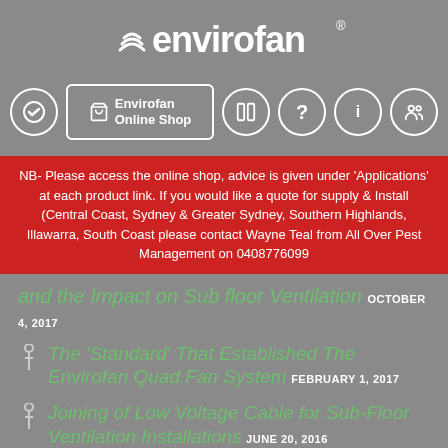[Figure (logo): Envirofan logo with wave/fan icon and brand name in white on grey background]
[Figure (screenshot): Navigation bar with circular icon buttons and highlighted 'Envirofan Online Shop' button]
NB- Please access the online shop, advice is given under 'Applications' at each product link. If you would like a quote for supply & Install (Central Coast, Sydney & Greater Sydney, Southern Highlands, Illawarra, South Coast please contact Wayne Teal from All Over Pest Management on 0408776099
and the Impact on Sub floor Ventilation OCTOBER 4, 2017
The 'Standard' That Established The Envirofan Quad Fan System FEBRUARY 1, 2017
Joining of Low Voltage Cable for Sub-Floor Ventilation Installations JUNE 20, 2016